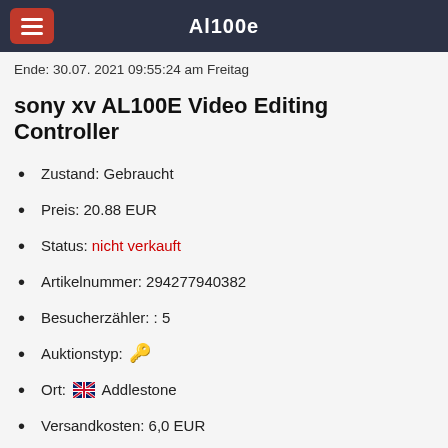Al100e
Ende: 30.07. 2021 09:55:24 am Freitag
sony xv AL100E Video Editing Controller
Zustand: Gebraucht
Preis: 20.88 EUR
Status: nicht verkauft
Artikelnummer: 294277940382
Besucherzähler: : 5
Auktionstyp: 🔑
Ort: 🇬🇧 Addlestone
Versandkosten: 6,0 EUR
bei ebay